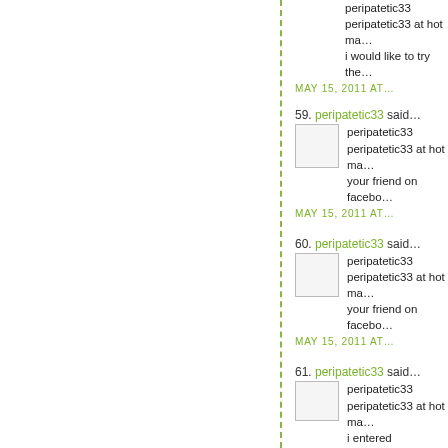peripatetic33
peripatetic33 at hot ma...
i would like to try the...
MAY 15, 2011 AT...
59. peripatetic33 said...
peripatetic33
peripatetic33 at hot ma...
your friend on facebo...
MAY 15, 2011 AT...
60. peripatetic33 said...
peripatetic33
peripatetic33 at hot ma...
your friend on facebo...
MAY 15, 2011 AT...
61. peripatetic33 said...
peripatetic33
peripatetic33 at hot ma...
i entered Johnsonville...